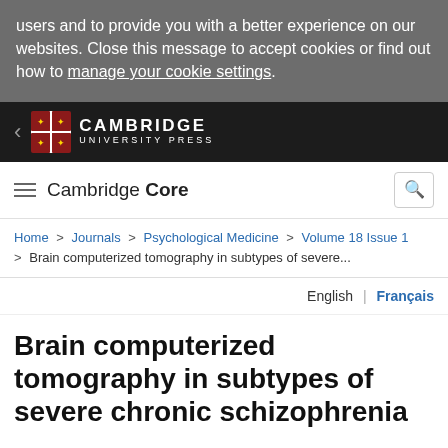users and to provide you with a better experience on our websites. Close this message to accept cookies or find out how to manage your cookie settings.
[Figure (logo): Cambridge University Press logo with shield and text on dark background]
Cambridge Core
Home > Journals > Psychological Medicine > Volume 18 Issue 1 > Brain computerized tomography in subtypes of severe...
English | Français
Brain computerized tomography in subtypes of severe chronic schizophrenia